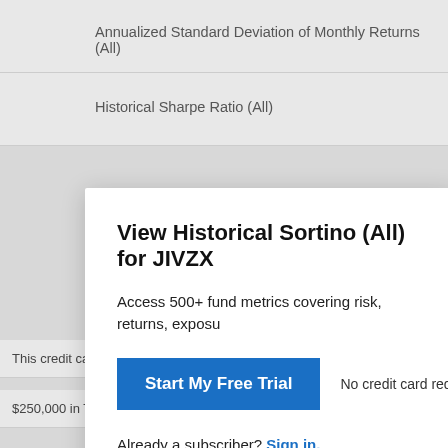Annualized Standard Deviation of Monthly Returns (All)
Historical Sharpe Ratio (All)
View Historical Sortino (All) for JIVZX
Access 500+ fund metrics covering risk, returns, expos…
Start My Free Trial
No credit card required.
Already a subscriber? Sign in.
This credit card is so good, I signed up personally  The Ascent
$250,000 in Term Life Coverage Starting at $13/month  AIG Direct